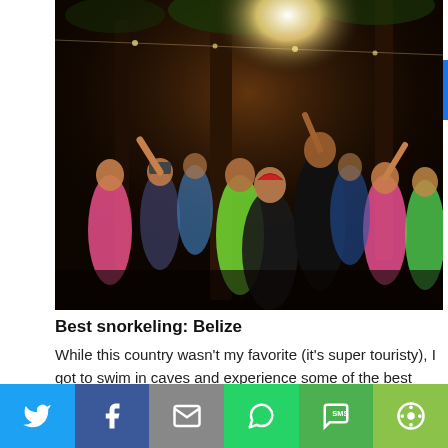[Figure (photo): Nighttime outdoor party scene with a crowd of young people dancing among trees with lights, colorful clothing visible]
Best snorkeling: Belize
While this country wasn't my favorite (it's super touristy), I got to swim in caves and experience some of the best snorkeling of my life! The Great Mayan Reef extends from the Yucatan Peninsula in Mexico down to Honduras and is home to all sorts of wildlife. I saw reef sharks, manatees, sea cows, stingrays, eels, sea turtles, and
[Figure (infographic): Social media share bar with Twitter, Facebook, Email, WhatsApp, SMS, and More buttons]